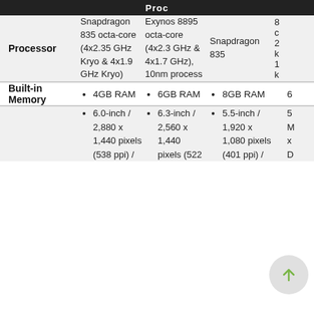Proc
|  | Snapdragon 835 octa-core (4x2.35 GHz Kryo & 4x1.9 GHz Kryo) | Exynos 8895 octa-core (4x2.3 GHz & 4x1.7 GHz), 10nm process | Snapdragon 835 | S... |
| --- | --- | --- | --- | --- |
| Processor | Snapdragon 835 octa-core (4x2.35 GHz Kryo & 4x1.9 GHz Kryo) | Exynos 8895 octa-core (4x2.3 GHz & 4x1.7 GHz), 10nm process | Snapdragon 835 | ... |
| Built-in Memory | 4GB RAM | 6GB RAM | 8GB RAM | 6... |
|  | 6.0-inch / 2,880 x 1,440 pixels (538 ppi) / | 6.3-inch / 2,560 x 1,440 pixels (522 | 5.5-inch / 1,920 x 1,080 pixels (401 ppi) / | 5... |